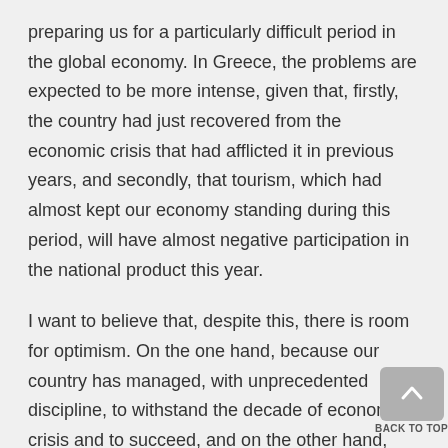preparing us for a particularly difficult period in the global economy. In Greece, the problems are expected to be more intense, given that, firstly, the country had just recovered from the economic crisis that had afflicted it in previous years, and secondly, that tourism, which had almost kept our economy standing during this period, will have almost negative participation in the national product this year.
I want to believe that, despite this, there is room for optimism. On the one hand, because our country has managed, with unprecedented discipline, to withstand the decade of economic crisis and to succeed, and on the other hand, because it is now proved that our behaviour all this time was not circumstantial. This is demonstrated by the discipline with which we complied with the measures the Greek government took decisively, and immediately, something that is rewarded with flattering